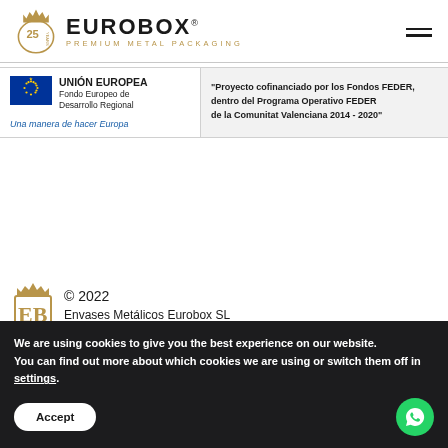[Figure (logo): Eurobox Premium Metal Packaging logo with 25 years anniversary badge]
[Figure (infographic): European Union FEDER funding banner: UNIÓN EUROPEA Fondo Europeo de Desarrollo Regional, Una manera de hacer Europa. Quote: Proyecto cofinanciado por los Fondos FEDER, dentro del Programa Operativo FEDER de la Comunitat Valenciana 2014 - 2020]
[Figure (logo): Envases Metalicos Eurobox SL footer logo with crown and B monogram]
© 2022
Envases Metálicos Eurobox SL
We are using cookies to give you the best experience on our website.
You can find out more about which cookies we are using or switch them off in settings.